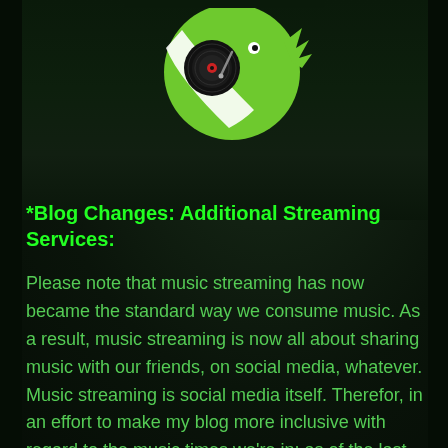[Figure (illustration): Green circular logo with a vinyl record and DJ/fish character, partially visible at top of page]
*Blog Changes: Additional Streaming Services:
Please note that music streaming has now became the standard way we consume music. As a result, music streaming is now all about sharing music with our friends, on social media, whatever. Music streaming is social media itself. Therefor, in an effort to make my blog more inclusive with regard to the music times we're in; as of the last few weeks & going forward; I've decided to